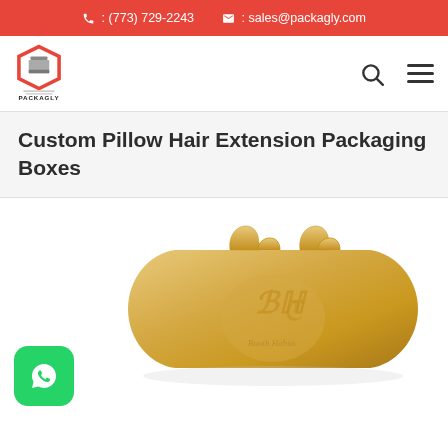: (773) 729-2243   : sales@packagly.com
[Figure (logo): Packagly hexagon logo with box icon and text PACKAGLY below]
Custom Pillow Hair Extension Packaging Boxes
[Figure (photo): Gold/champagne colored pillow hair extension packaging box with decorative embossed logo, shown on white background]
[Figure (logo): WhatsApp green icon button in bottom left corner]